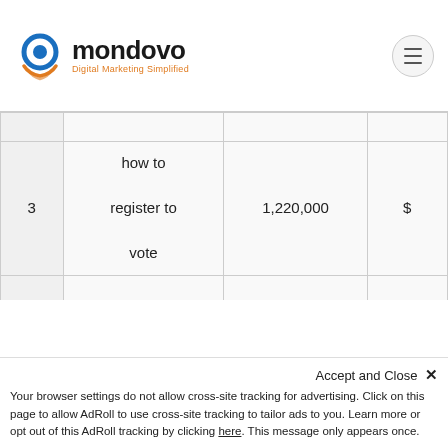mondovo - Digital Marketing Simplified
| # | Keyword | Volume | $ |
| --- | --- | --- | --- |
|  |  |  |  |
| 3 | how to register to vote | 1,220,000 | $ |
| 4 | how to tie a tie | 673,000 | $ |
| 5 | can you run it | 550,000 | $ |
Accept and Close ×
Your browser settings do not allow cross-site tracking for advertising. Click on this page to allow AdRoll to use cross-site tracking to tailor ads to you. Learn more or opt out of this AdRoll tracking by clicking here. This message only appears once.